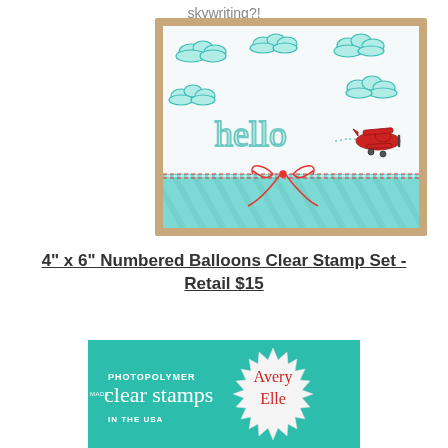skywriting?!
[Figure (photo): A handmade greeting card showing a red biplane flying through a sky with teal/mint colored clouds, trailing 'hello' written in script like skywriting. A decorative teal striped band and red-and-white baker's twine bow are along the bottom of the card. The card sits on a tan/kraft background.]
4" x 6" Numbered Balloons Clear Stamp Set - Retail $15
[Figure (photo): Product packaging for Avery Elle photopolymer clear stamps, made in the USA. Teal/turquoise background with white text and the Avery Elle logo in a starburst badge on the right side.]